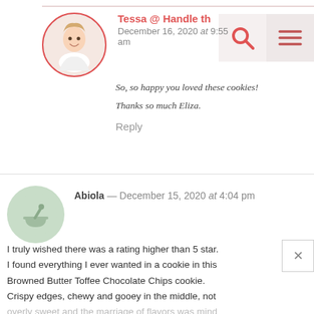[Figure (photo): Circular profile photo of a smiling blonde woman in white top, with red border]
Tessa @ Handle th
December 16, 2020 at 9:55 am
So, so happy you loved these cookies! Thanks so much Eliza.
Reply
[Figure (illustration): Circular light green avatar icon with a mortar and pestle bowl icon]
Abiola — December 15, 2020 at 4:04 pm
I truly wished there was a rating higher than 5 star. I found everything I ever wanted in a cookie in this Browned Butter Toffee Chocolate Chips cookie. Crispy edges, chewy and gooey in the middle, not overly sweet and the marriage of flavors was mind blowing, this recipe just won my heart over my